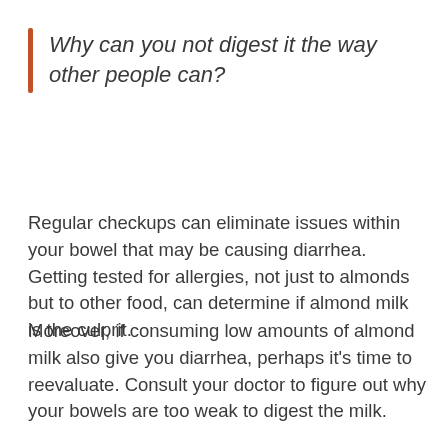Why can you not digest it the way other people can?
Regular checkups can eliminate issues within your bowel that may be causing diarrhea. Getting tested for allergies, not just to almonds but to other food, can determine if almond milk is the culprit.
Moreover, if consuming low amounts of almond milk also give you diarrhea, perhaps it’s time to reevaluate. Consult your doctor to figure out why your bowels are too weak to digest the milk.